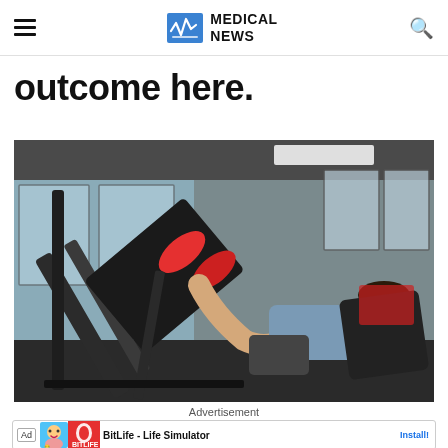MEDICAL NEWS
outcome here.
[Figure (photo): A man doing leg press exercise on a machine in a gym with large windows in the background]
Advertisement
BitLife - Life Simulator  Install!